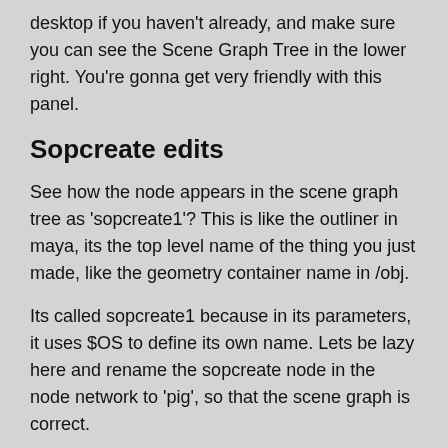desktop if you haven't already, and make sure you can see the Scene Graph Tree in the lower right. You're gonna get very friendly with this panel.
Sopcreate edits
See how the node appears in the scene graph tree as 'sopcreate1'? This is like the outliner in maya, its the top level name of the thing you just made, like the geometry container name in /obj.
Its called sopcreate1 because in its parameters, it uses $OS to define its own name. Lets be lazy here and rename the sopcreate node in the node network to 'pig', so that the scene graph is correct.
Now append another sopcreate, and use its parameters to bring in the ground object. Note that when you attach the two nodes together and display the second, you see both the grid and the pig? Attaching these nodes appends their